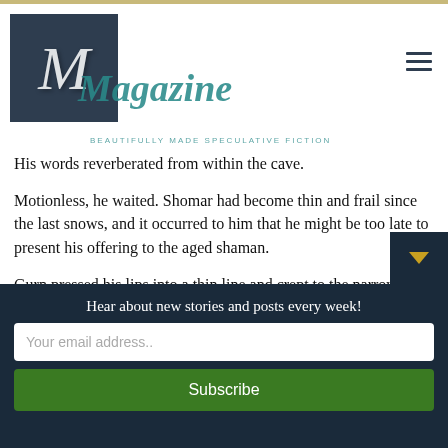Metaphorosis Magazine — BEAUTIFULLY MADE SPECULATIVE FICTION
His words reverberated from within the cave.
Motionless, he waited. Shomar had become thin and frail since the last snows, and it occurred to him that he might be too late to present his offering to the aged shaman.
Gurn pressed his lips into a thin line and crept to the narrow entry between the cold fire pits. Bending, he stepped from sunlight into shadows. Before his eyes could adjust, the smell of Shomar enveloped him, bringing to mind the mornings of his boyhood when he crept reverently into the damp cave, eager to learn t
Hear about new stories and posts every week!
Your email address..
Subscribe